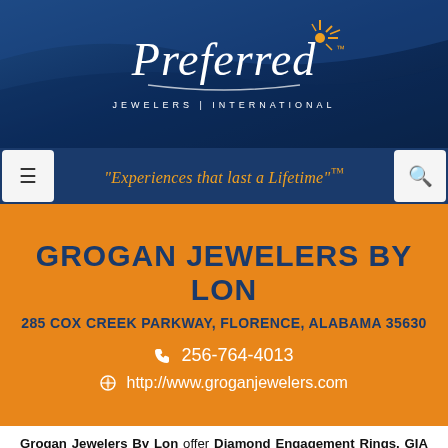[Figure (logo): Preferred Jewelers International logo on dark navy blue background with curved lines]
"Experiences that last a Lifetime"™
GROGAN JEWELERS BY LON
285 COX CREEK PARKWAY, FLORENCE, ALABAMA 35630
256-764-4013
http://www.groganjewelers.com
Grogan Jewelers By Lon offer Diamond Engagement Rings, GIA Certified Diamonds, Bridal Jewelry, Loose Diamonds and Wedding & Anniversary Bands. Grogan Jewelers by Lon are located in Huntsville and Florence, Alabama, AL.
Grogan Jewelers has a long, rich history of providing quality